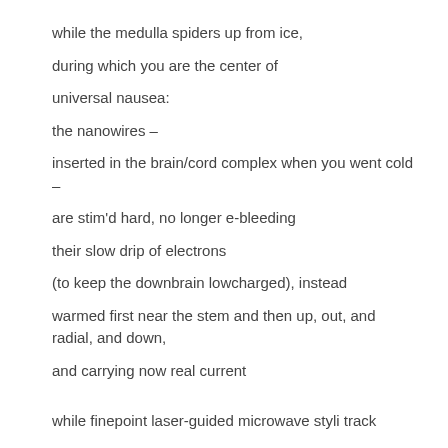while the medulla spiders up from ice,
during which you are the center of
universal nausea:
the nanowires –
inserted in the brain/cord complex when you went cold –
are stim'd hard, no longer e-bleeding
their slow drip of electrons
(to keep the downbrain lowcharged), instead
warmed first near the stem and then up, out, and radial, and down,
and carrying now real current
while finepoint laser-guided microwave styli track
capillaries back and forward,
and dance along the larger nerve bundles,
and when – suddenly  –
you are awake, you are not-awake-only-aware